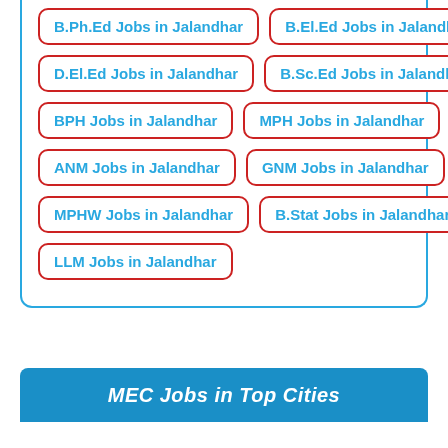B.Ph.Ed Jobs in Jalandhar
B.El.Ed Jobs in Jalandhar
D.El.Ed Jobs in Jalandhar
B.Sc.Ed Jobs in Jalandhar
BPH Jobs in Jalandhar
MPH Jobs in Jalandhar
ANM Jobs in Jalandhar
GNM Jobs in Jalandhar
MPHW Jobs in Jalandhar
B.Stat Jobs in Jalandhar
LLM Jobs in Jalandhar
MEC Jobs in Top Cities